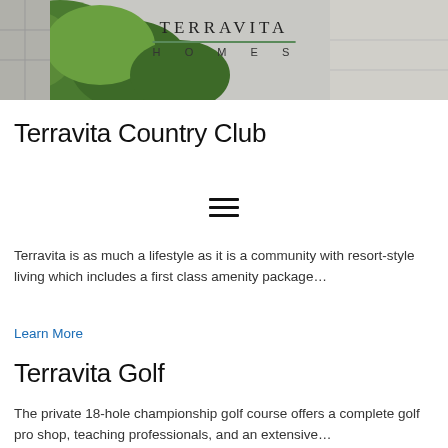[Figure (photo): Header photo of green manicured bushes/grass on a stone path, with Terravita Homes logo overlaid on top center]
Terravita Country Club
Terravita is as much a lifestyle as it is a community with resort-style living which includes a first class amenity package…
Learn More
Terravita Golf
The private 18-hole championship golf course offers a complete golf pro shop, teaching professionals, and an extensive…
Learn More
Harmony of Land and Life